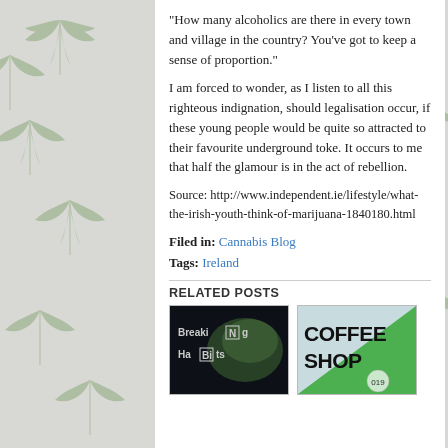“How many alcoholics are there in every town and village in the country? You've got to keep a sense of proportion.”
I am forced to wonder, as I listen to all this righteous indignation, should legalisation occur, if these young people would be quite so attracted to their favourite underground toke. It occurs to me that half the glamour is in the act of rebellion.
Source: http://www.independent.ie/lifestyle/what-the-irish-youth-think-of-marijuana-1840180.html
Filed in: Cannabis Blog
Tags: Ireland
RELATED POSTS
[Figure (photo): Breaking Bad style graphic with text 'Breaki N g Ha Bi ts' on dark background with greenish smoke]
[Figure (photo): Coffee Shop sign with teal/green background and '019' badge]